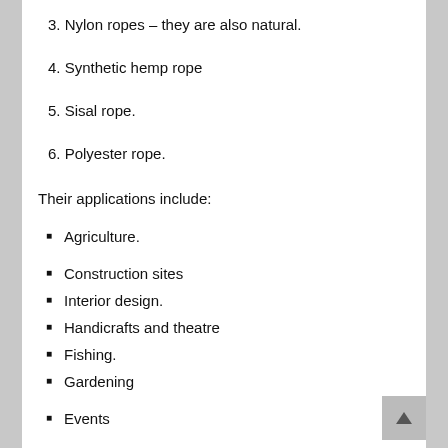3. Nylon ropes – they are also natural.
4. Synthetic hemp rope
5. Sisal rope.
6. Polyester rope.
Their applications include:
Agriculture.
Construction sites
Interior design.
Handicrafts and theatre
Fishing.
Gardening
Events